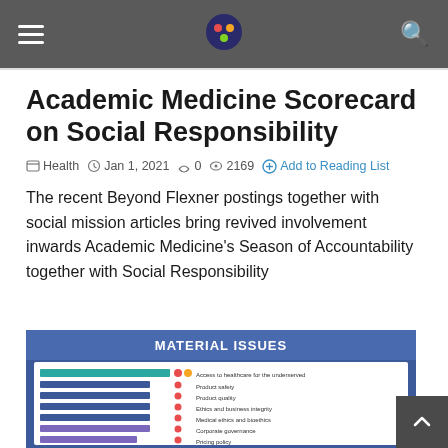Academic Medicine Scorecard on Social Responsibility — site header with navigation
Academic Medicine Scorecard on Social Responsibility
Health  Jan 1, 2021  0  2169  Add to Reading List
The recent Beyond Flexner postings together with social mission articles bring revived involvement inwards Academic Medicine's Season of Accountability together with Social Responsibility
[Figure (infographic): Material Issues infographic showing a horizontal bar chart with colored bars and labels including: Access to healthcare for the underserved, Product safety, Product quality, Ethics and business integrity, Medical ethics and bioethics, Corporate governance, Pricing policy, Supply chain/Responsible procurement]